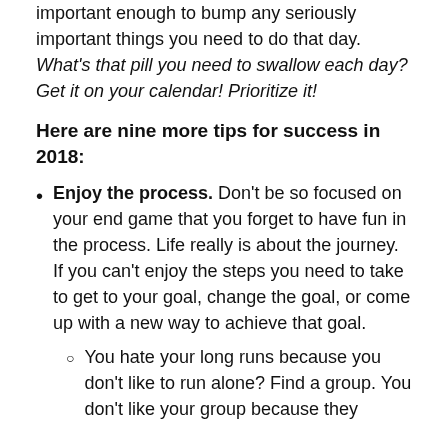important enough to bump any seriously important things you need to do that day. What's that pill you need to swallow each day? Get it on your calendar! Prioritize it!
Here are nine more tips for success in 2018:
Enjoy the process. Don't be so focused on your end game that you forget to have fun in the process. Life really is about the journey. If you can't enjoy the steps you need to take to get to your goal, change the goal, or come up with a new way to achieve that goal.
You hate your long runs because you don't like to run alone? Find a group. You don't like your group because they